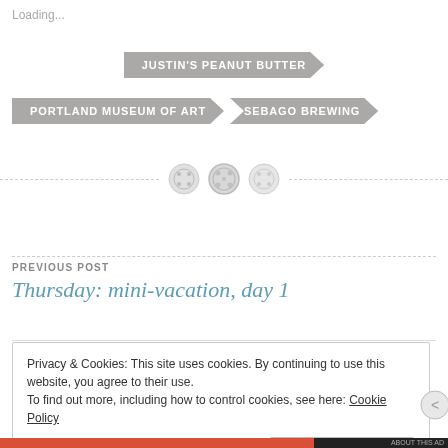Loading...
JUSTIN'S PEANUT BUTTER
PORTLAND MUSEUM OF ART
SEBAGO BREWING
[Figure (illustration): Three circular button decorative divider icons on a dashed horizontal line]
PREVIOUS POST
Thursday: mini-vacation, day 1
Privacy & Cookies: This site uses cookies. By continuing to use this website, you agree to their use.
To find out more, including how to control cookies, see here: Cookie Policy
Close and accept